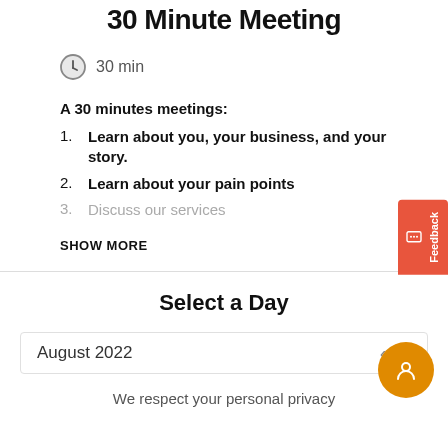30 Minute Meeting
30 min
A 30 minutes meetings:
Learn about you, your business, and your story.
Learn about your pain points
Discuss our services
SHOW MORE
Select a Day
August 2022
We respect your personal privacy